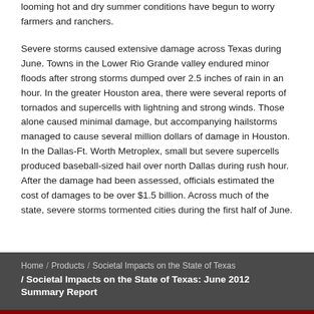looming hot and dry summer conditions have begun to worry farmers and ranchers.
Severe storms caused extensive damage across Texas during June. Towns in the Lower Rio Grande valley endured minor floods after strong storms dumped over 2.5 inches of rain in an hour. In the greater Houston area, there were several reports of tornados and supercells with lightning and strong winds. Those alone caused minimal damage, but accompanying hailstorms managed to cause several million dollars of damage in Houston. In the Dallas-Ft. Worth Metroplex, small but severe supercells produced baseball-sized hail over north Dallas during rush hour. After the damage had been assessed, officials estimated the cost of damages to be over $1.5 billion. Across much of the state, severe storms tormented cities during the first half of June.
Home / Products / Societal Impacts on the State of Texas / Societal Impacts on the State of Texas: June 2012 Summary Report